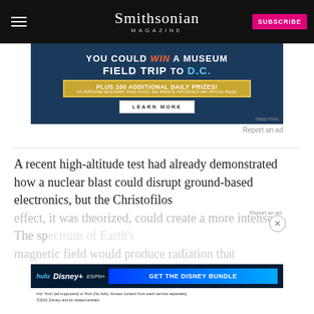Smithsonian Magazine
[Figure (screenshot): Advertisement banner: 'YOU COULD WIN A MUSEUM FIELD TRIP TO D.C.' with 'PLUS 100 ADDITIONAL DAILY PRIZES!' and a 'LEARN MORE' button on dark blue background. ©2022 TOOC]
Report an ad
A recent high-altitude test had already demonstrated how a nuclear blast could disrupt ground-based electronics, but the Christofilos effect, it was theorized, could create a more intense. The sp... magnetic field would produce radiation that
[Figure (screenshot): Disney Bundle advertisement showing Hulu, Disney+, and ESPN+ logos with 'GET THE DISNEY BUNDLE' button]
Report an ad